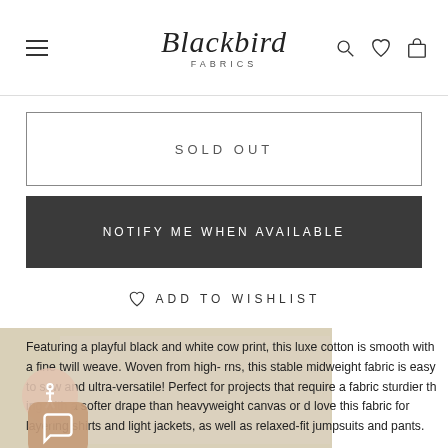Blackbird Fabrics
SOLD OUT
NOTIFY ME WHEN AVAILABLE
ADD TO WISHLIST
Featuring a playful black and white cow print, this luxe cotton is smooth with a fine twill weave. Woven from high- rns, this stable midweight fabric is easy to sew and ultra-versatile! Perfect for projects that require a fabric sturdier th ing with a softer drape than heavyweight canvas or d love this fabric for layering shirts and light jackets, as well as relaxed-fit jumpsuits and pants.